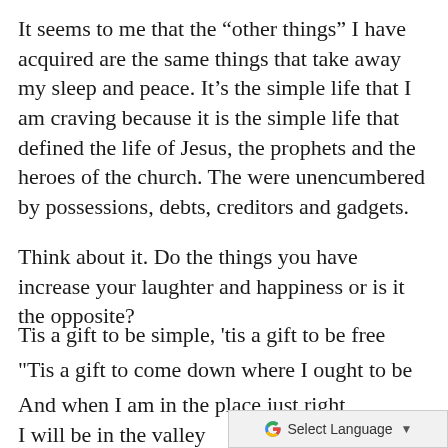It seems to me that the “other things” I have acquired are the same things that take away my sleep and peace. It’s the simple life that I am craving because it is the simple life that defined the life of Jesus, the prophets and the heroes of the church. The were unencumbered by possessions, debts, creditors and gadgets.
Think about it. Do the things you have increase your laughter and happiness or is it the opposite?
Tis a gift to be simple, 'tis a gift to be free
'Tis a gift to come down where I ought to be
And when I am in the place just right
I will be in the valley of love and delight